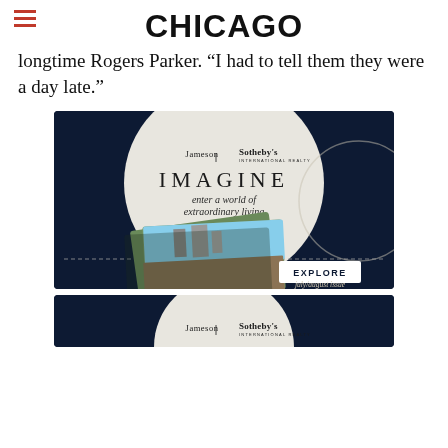CHICAGO
longtime Rogers Parker. “I had to tell them they were a day late.”
[Figure (advertisement): Jameson Sotheby's International Realty advertisement with dark navy background, large circle, text IMAGINE enter a world of extraordinary living, photo of rooftop terrace with city skyline, EXPLORE button, july/august issue label]
[Figure (advertisement): Jameson Sotheby's International Realty advertisement, partial view showing logo on dark navy background with circle element]